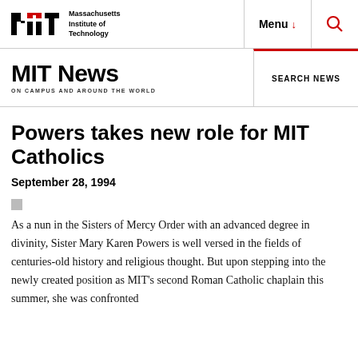Massachusetts Institute of Technology | Menu | Search
MIT News ON CAMPUS AND AROUND THE WORLD | SEARCH NEWS
Powers takes new role for MIT Catholics
September 28, 1994
As a nun in the Sisters of Mercy Order with an advanced degree in divinity, Sister Mary Karen Powers is well versed in the fields of centuries-old history and religious thought. But upon stepping into the newly created position as MIT's second Roman Catholic chaplain this summer, she was confronted